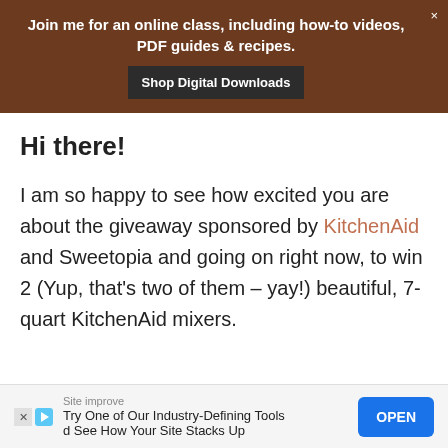Join me for an online class, including how-to videos, PDF guides & recipes. Shop Digital Downloads
Hi there!
I am so happy to see how excited you are about the giveaway sponsored by KitchenAid and Sweetopia and going on right now, to win 2 (Yup, that's two of them – yay!) beautiful, 7-quart KitchenAid mixers.
Site improve. Try One of Our Industry-Defining Tools and See How Your Site Stacks Up. OPEN